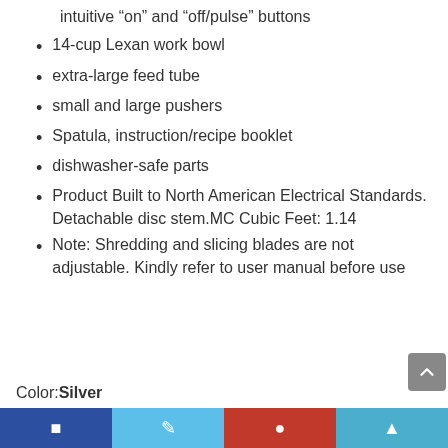intuitive “on” and “off/pulse” buttons
14-cup Lexan work bowl
extra-large feed tube
small and large pushers
Spatula, instruction/recipe booklet
dishwasher-safe parts
Product Built to North American Electrical Standards. Detachable disc stem.MC Cubic Feet: 1.14
Note: Shredding and slicing blades are not adjustable. Kindly refer to user manual before use
Color: Silver